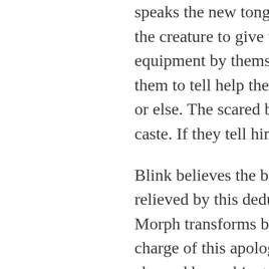speaks the new tongue. Annoyed, Holocaust orders the creature to give them back their eyes or figure out his equipment by themselves. Or else be squashed. The bug asks them to tell him how to help them. Angry, Holocaust aims his gun at the bug or else. The scared bug tells Holocaust it is of the working caste. If they tell him what they
Blink believes the bug, and Morph agrees. Namora is relieved by this deduction, as she is queen of Atlantis. Morph transforms back and asks show them the person in charge of this world apologizes, for he does not understand how it is charged by ambient radiant quanta collected wonders who taught this creature English understand. Morph transforms into a gre to take him to his leader.
The working caste bug understands and Exiles follow the creature down the hall an artificial construct. The working caste image, so maybe they really do project i as the Timebroker's mean streak seem